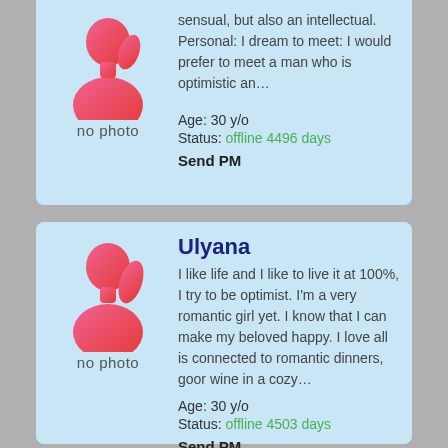[Figure (illustration): Female silhouette placeholder avatar with 'no photo' label, pink/red gradient, card 1]
sensual, but also an intellectual. Personal: I dream to meet: I would prefer to meet a man who is optimistic an…
Age: 30 y/o
Status: offline 4496 days
Send PM
[Figure (illustration): Female silhouette placeholder avatar with 'no photo' label, pink/red gradient, card 2]
Ulyana
I like life and I like to live it at 100%, I try to be optimist. I'm a very romantic girl yet. I know that I can make my beloved happy. I love all is connected to romantic dinners, goor wine in a cozy…
Age: 30 y/o
Status: offline 4503 days
Send PM